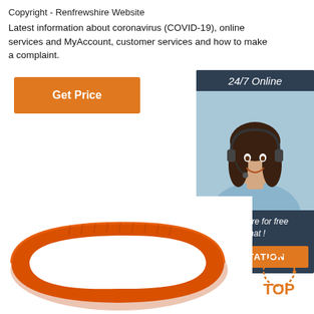Copyright - Renfrewshire Website
Latest information about coronavirus (COVID-19), online services and MyAccount, customer services and how to make a complaint.
[Figure (other): Orange 'Get Price' button]
[Figure (other): Chat widget with '24/7 Online' header, photo of woman with headset, 'Click here for free chat!' text, and orange QUOTATION button]
[Figure (photo): Orange silicone wristband/bracelet photographed from above on white background]
[Figure (logo): TOP logo with dotted circle and orange text]